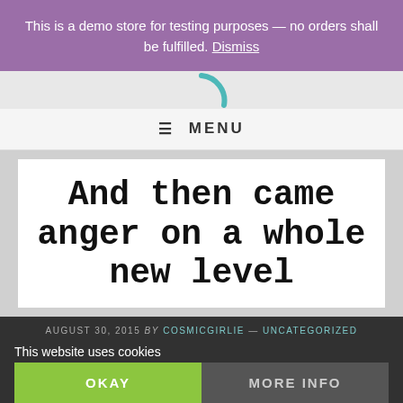This is a demo store for testing purposes — no orders shall be fulfilled. Dismiss
[Figure (logo): Partial circular logo graphic in teal/green color on gray background]
≡ MENU
And then came anger on a whole new level
AUGUST 30, 2015 by COSMICGIRLIE — UNCATEGORIZED
This website uses cookies
OKAY
MORE INFO